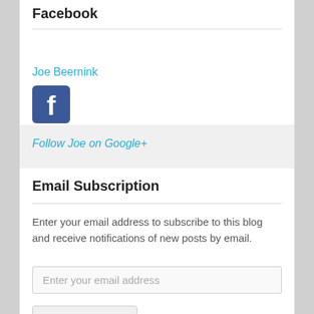Facebook
Joe Beernink
[Figure (logo): Facebook logo icon - blue rounded square with white F]
Follow Joe on Google+
Email Subscription
Enter your email address to subscribe to this blog and receive notifications of new posts by email.
Enter your email address
Sign me up!